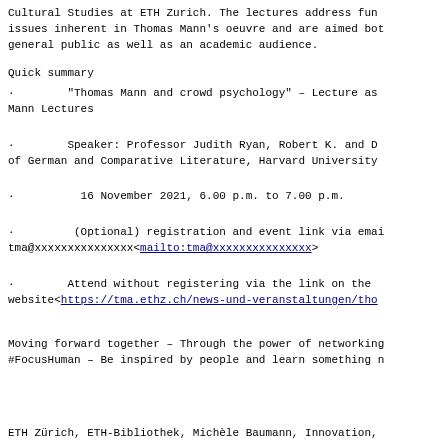Cultural Studies at ETH Zurich. The lectures address fund issues inherent in Thomas Mann's oeuvre and are aimed bot general public as well as an academic audience.
Quick summary
· "Thomas Mann and crowd psychology" – Lecture as Mann Lectures
· Speaker: Professor Judith Ryan, Robert K. and D of German and Comparative Literature, Harvard University
· 16 November 2021, 6.00 p.m. to 7.00 p.m.
· (Optional) registration and event link via emai tma@xxxxxxxxxxxxxxx<mailto:tma@xxxxxxxxxxxxxxx>
· Attend without registering via the link on the website<https://tma.ethz.ch/news-und-veranstaltungen/tho
Moving forward together – Through the power of networking #FocusHuman – Be inspired by people and learn something n
ETH Zürich, ETH-Bibliothek, Michèle Baumann, Innovation,